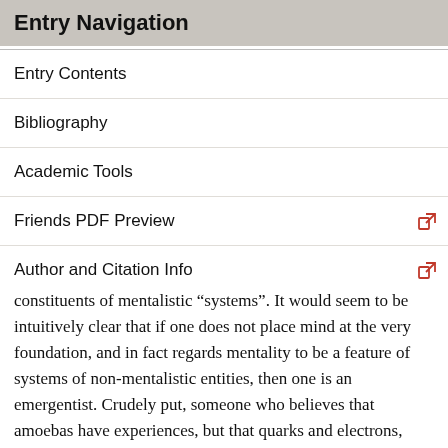Entry Navigation
Entry Contents
Bibliography
Academic Tools
Friends PDF Preview
Author and Citation Info
constituents of mentalistic “systems”. It would seem to be intuitively clear that if one does not place mind at the very foundation, and in fact regards mentality to be a feature of systems of non-mentalistic entities, then one is an emergentist. Crudely put, someone who believes that amoebas have experiences, but that quarks and electrons, which ultimately constitute amoebas, do not is no panpsychist. However, this simplifying view contains an implicit assumption about the nature of the fundamental physical constituents of the world, namely that the unobservable and hypothetical entities postulated by